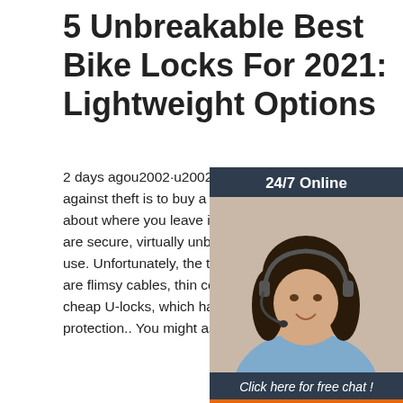5 Unbreakable Best Bike Locks For 2021: Lightweight Options
2 days agou2002·u2002The best precaution against theft is to buy a good lock and be smart about where you leave it.. The best bike locks are secure, virtually unbreakable and simple to use. Unfortunately, the two most popular types are flimsy cables, thin combination locks, and cheap U-locks, which hardly serve as anti-theft protection.. You might as well put a big bow on it.
[Figure (other): Chat widget showing a woman with a headset, dark navy background, '24/7 Online' header text, 'Click here for free chat!' text, and an orange QUOTATION button.]
Get Price